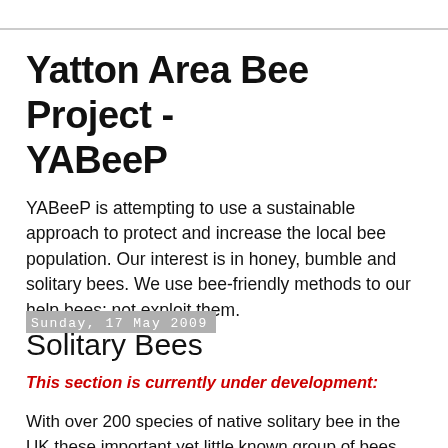Yatton Area Bee Project - YABeeP
YABeeP is attempting to use a sustainable approach to protect and increase the local bee population. Our interest is in honey, bumble and solitary bees. We use bee-friendly methods to our help bees; not exploit them.
Sunday, 17 May 2009
Solitary Bees
This section is currently under development:
With over 200 species of native solitary bee in the UK these important yet little known group of bees makes up a vital and